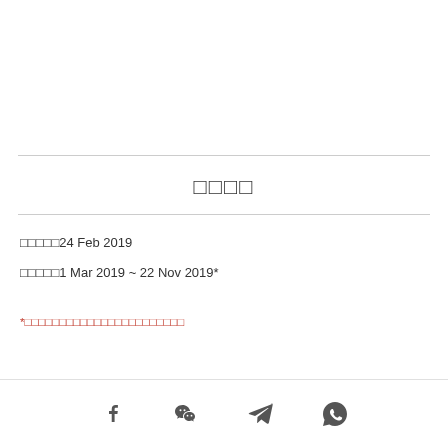□□□□
□□□□□24 Feb 2019
□□□□□1 Mar 2019 ~ 22 Nov 2019*
*□□□□□□□□□□□□□□□□□□□□□□□
[social icons: Facebook, WeChat, Telegram, WhatsApp]